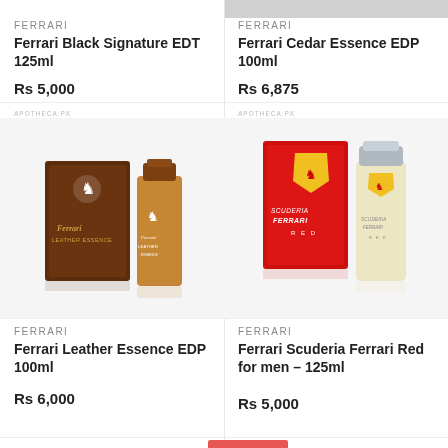FERRARI
Ferrari Black Signature EDT 125ml
Rs 5,000
[Figure (photo): Ferrari Black Signature EDT 125ml perfume product image (not visible in this crop)]
FERRARI
Ferrari Cedar Essence EDP 100ml
Rs 6,875
[Figure (photo): Ferrari Cedar Essence EDP 100ml perfume product image (partially visible at top)]
[Figure (photo): Ferrari Leather Essence EDP 100ml - brown box and bottle]
FERRARI
Ferrari Leather Essence EDP 100ml
Rs 6,000
[Figure (photo): Ferrari Scuderia Ferrari Red for men 125ml - red box and clear bottle]
FERRARI
Ferrari Scuderia Ferrari Red for men – 125ml
Rs 5,000